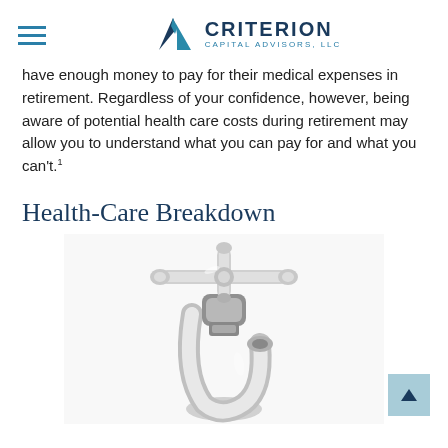CRITERION CAPITAL ADVISORS, LLC
have enough money to pay for their medical expenses in retirement. Regardless of your confidence, however, being aware of potential health care costs during retirement may allow you to understand what you can pay for and what you can't.¹
Health-Care Breakdown
[Figure (photo): Close-up photo of a chrome bathroom/sink faucet tap against a white background]